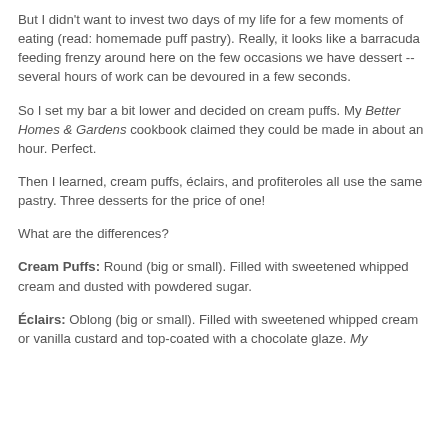But I didn't want to invest two days of my life for a few moments of eating (read: homemade puff pastry). Really, it looks like a barracuda feeding frenzy around here on the few occasions we have dessert -- several hours of work can be devoured in a few seconds.
So I set my bar a bit lower and decided on cream puffs. My Better Homes & Gardens cookbook claimed they could be made in about an hour. Perfect.
Then I learned, cream puffs, éclairs, and profiteroles all use the same pastry. Three desserts for the price of one!
What are the differences?
Cream Puffs:
Round (big or small). Filled with sweetened whipped cream and dusted with powdered sugar.
Éclairs:
Oblong (big or small). Filled with sweetened whipped cream or vanilla custard and top-coated with a chocolate glaze. My